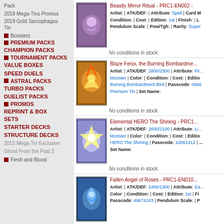Pack
2018 Mega-Tins Promos
2019 Gold Sarcophagus Tin
Boosters
PREMIUM PACKS
CHAMPION PACKS
TOURNAMENT PACKS
VALUE BOXES
SPEED DUELS
ASTRAL PACKS
TURBO PACKS
DUELIST PACKS
PROMOS
REPRINT & BOX SETS
STARTER DECKS
STRUCTURE DECKS
2015 Mega-Tin Exclusive
Ghost From the Past 2
Flesh and Blood
Beastly Mirror Ritual - PRC1-EN002 - Artist: | ATK/DEF: | Attribute: Spell | Card M... Condition: | Cost: | Edition: 1st | Finish: | L... Pendulum Scale: | Pow/Tgh: | Rarity: Super... No conditions in stock.
Blaze Fenix, the Burning Bombardme... Artist: | ATK/DEF: 2800/2300 | Attribute: Fir... Monster | Color: | Condition: | Cost: | Editio... Burning Bombardment Bird | Passcode: 0666... Premium Tin | Set Name: No conditions in stock.
Elemental HERO The Shining - PRC1... Artist: | ATK/DEF: 2600/2100 | Attribute: Li... Monster | Color: | Condition: | Cost: | Editio... HERO The Shining | Passcode: 22061412 | ... Set Name: No conditions in stock.
Fallen Angel of Roses - PRC1-EN010... Artist: | ATK/DEF: 2400/1300 | Attribute: Ea... Color: | Condition: | Cost: | Edition: 1st | Fi... Passcode: 49674183 | Pendulum Scale: | P... No conditions in stock.
Fiend's Mirror - PRC1-EN003 - Super... Artist: | ATK/DEF: 2100/1800 | Attribute: Da... Color: | Condition: | Cost: | Edition: 1st | Fi...